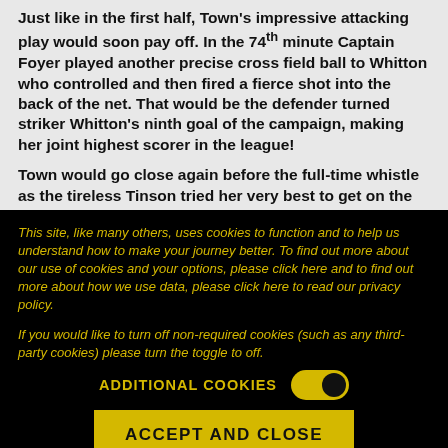Just like in the first half, Town's impressive attacking play would soon pay off. In the 74th minute Captain Foyer played another precise cross field ball to Whitton who controlled and then fired a fierce shot into the back of the net. That would be the defender turned striker Whitton's ninth goal of the campaign, making her joint highest scorer in the league!
Town would go close again before the full-time whistle as the tireless Tinson tried her very best to get on the scoresheet and Gill drove a great shot against the crossbar.
This site, like many others, uses cookies to function and to help us understand how to make your journey better. To find out more about our use of cookies and your options, please click here and to find out more about how we use data, please click here to read our privacy policy.
If you would like to turn off non-required cookies (such as any third-party cookies) please turn the toggle to off.
ADDITIONAL COOKIES
ACCEPT AND CLOSE